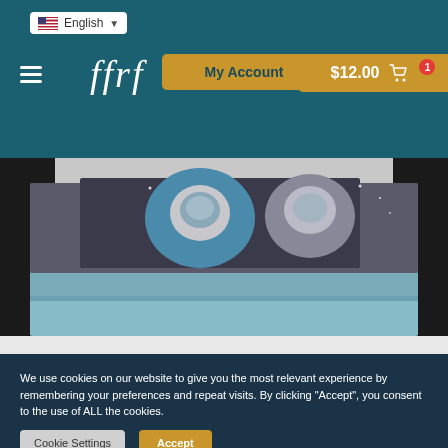FFRF website header with English language selector, hamburger menu, My Account button, and cart showing $12.00 with 1 item
[Figure (photo): Folded t-shirts stacked on a surface, featuring a graphic design with an astronaut/space theme in blue and grey tones]
We use cookies on our website to give you the most relevant experience by remembering your preferences and repeat visits. By clicking “Accept”, you consent to the use of ALL the cookies.
Cookie Settings | Accept